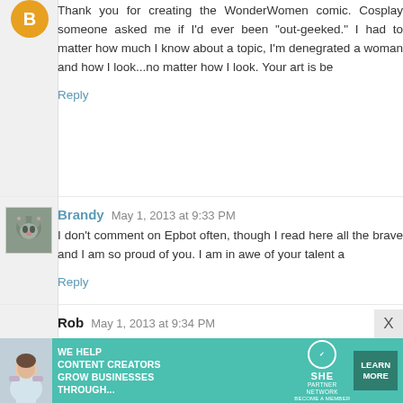Thank you for creating the WonderWomen comic. Cosplay someone asked me if I'd ever been "out-geeked." I had to matter how much I know about a topic, I'm denegrated a woman and how I look...no matter how I look. Your art is be
Reply
Brandy  May 1, 2013 at 9:33 PM
I don't comment on Epbot often, though I read here all the brave and I am so proud of you. I am in awe of your talent a
Reply
Rob  May 1, 2013 at 9:34 PM
Paige,
Anyone who goes out in costume is amazingly brave! It s want to ruin it for the rest of us. I recently dressed up as a were going to make fun of me, especially since I'm not the with them, which totally made my day. I almost chickened o be Jack Sparrow. I hope you put on that Wonder Woman c size you are. Hang in there! We're all in this together.
[Figure (screenshot): SHE Partner Network advertisement banner with teal background, text 'WE HELP CONTENT CREATORS GROW BUSINESSES THROUGH...' and 'LEARN MORE' button]